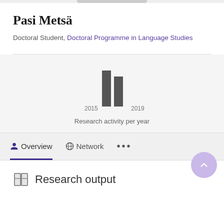Pasi Metsä
Doctoral Student, Doctoral Programme in Language Studies
[Figure (bar-chart): Research activity per year]
Research activity per year
Overview   Network   •••
Research output